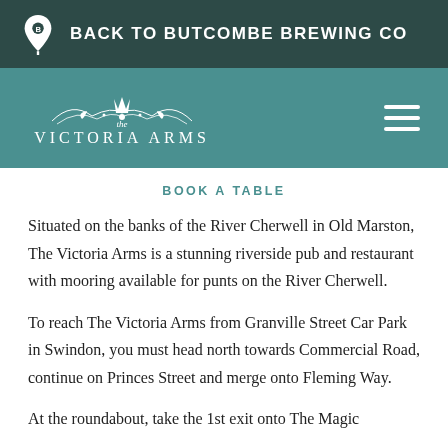BACK TO BUTCOMBE BREWING CO
[Figure (logo): The Victoria Arms pub logo with decorative emblem on teal background]
BOOK A TABLE
Situated on the banks of the River Cherwell in Old Marston, The Victoria Arms is a stunning riverside pub and restaurant with mooring available for punts on the River Cherwell.
To reach The Victoria Arms from Granville Street Car Park in Swindon, you must head north towards Commercial Road, continue on Princes Street and merge onto Fleming Way.
At the roundabout, take the 1st exit onto The Magic